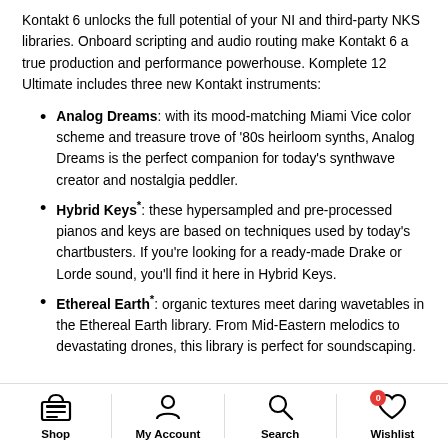Kontakt 6 unlocks the full potential of your NI and third-party NKS libraries. Onboard scripting and audio routing make Kontakt 6 a true production and performance powerhouse. Komplete 12 Ultimate includes three new Kontakt instruments:
Analog Dreams: with its mood-matching Miami Vice color scheme and treasure trove of ‘80s heirloom synths, Analog Dreams is the perfect companion for today’s synthwave creator and nostalgia peddler.
Hybrid Keys*: these hypersampled and pre-processed pianos and keys are based on techniques used by today’s chartbusters. If you’re looking for a ready-made Drake or Lorde sound, you’ll find it here in Hybrid Keys.
Ethereal Earth*: organic textures meet daring wavetables in the Ethereal Earth library. From Mid-Eastern melodics to devastating drones, this library is perfect for soundscaping.
Shop  My Account  Search  Wishlist